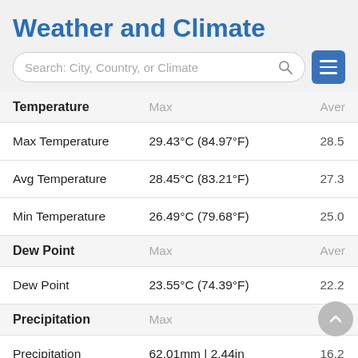Weather and Climate
[Figure (other): Search bar with placeholder 'Search: City, Country, or Climate' and a hamburger menu button]
| Temperature | Max | Aver |
| --- | --- | --- |
| Max Temperature | 29.43°C (84.97°F) | 28.5 |
| Avg Temperature | 28.45°C (83.21°F) | 27.3 |
| Min Temperature | 26.49°C (79.68°F) | 25.0 |
| Dew Point | Max | Aver |
| Dew Point | 23.55°C (74.39°F) | 22.2 |
| Precipitation | Max |  |
| Precipitation | 62.01mm | 2.44in | 16.2 |